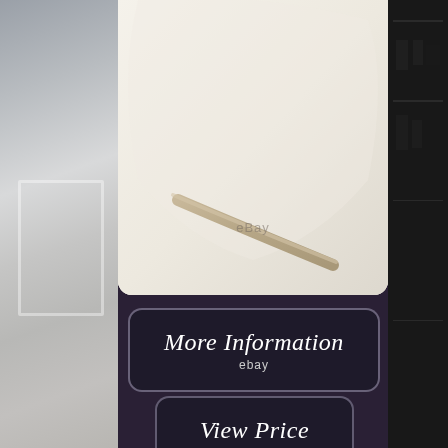[Figure (photo): Left side strip showing a room interior with a white fireplace panel and grey walls]
[Figure (photo): Top center product image showing close-up of a cream/ivory upholstered chair shell with a gold/brass metal leg, eBay watermark visible]
[Figure (photo): Right side strip showing a dark wooden cabinet/bookcase with glasses and dishes]
[Figure (infographic): Button styled element reading 'More Information' with 'ebay' text below, dark background with rounded border]
[Figure (infographic): Button styled element reading 'View Price' with 'ebay' text below, dark background with rounded border]
Orange Herman Miller Original Eames Upholstered DSR Side Shell Chair. Product Description Vibrant and comfortable, this upholstered orange Herman Miller Eames DSR chair comprises of contrasting white fiberglass shell and a new